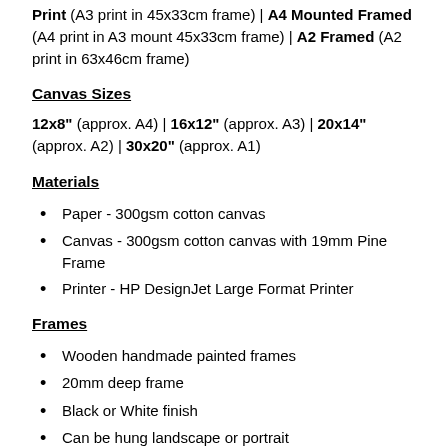Print (A3 print in 45x33cm frame) | A4 Mounted Framed (A4 print in A3 mount 45x33cm frame) | A2 Framed (A2 print in 63x46cm frame)
Canvas Sizes
12x8" (approx. A4) | 16x12" (approx. A3) | 20x14" (approx. A2) | 30x20" (approx. A1)
Materials
Paper - 300gsm cotton canvas
Canvas - 300gsm cotton canvas with 19mm Pine Frame
Printer - HP DesignJet Large Format Printer
Frames
Wooden handmade painted frames
20mm deep frame
Black or White finish
Can be hung landscape or portrait
Acrylic heavy safety glass which is durable and just as clear as glass